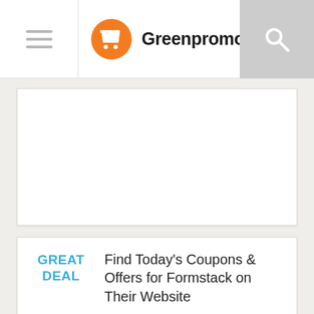Greenpromocode.com
[Figure (other): Blank white advertisement card area]
Find Today's Coupons & Offers for Formstack on Their Website
Use our formstack.com promo codes a...